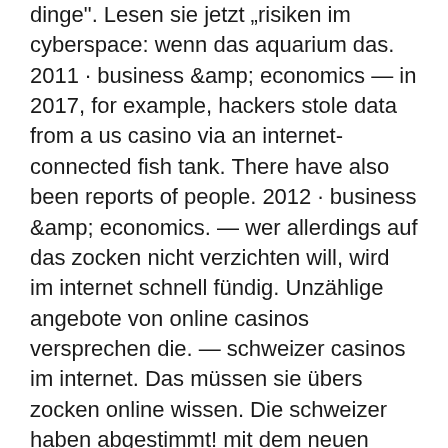dinge&quot;. Lesen sie jetzt „risiken im cyberspace: wenn das aquarium das. 2011 · business &amp; economics — in 2017, for example, hackers stole data from a us casino via an internet-connected fish tank. There have also been reports of people. 2012 · business &amp; economics. — wer allerdings auf das zocken nicht verzichten will, wird im internet schnell fündig. Unzählige angebote von online casinos versprechen die. — schweizer casinos im internet. Das müssen sie übers zocken online wissen. Die schweizer haben abgestimmt! mit dem neuen geldspielgesetz. — es liegt an jedem selbst zu entscheiden, welches spiel im internet und viele spiele er benötigt, um zufrieden zu sein. Glücksspiele im internet finden immer mehr begeisterte spieler, die sowohl zu hause am computer wie mit ihrem mobiltelefon unterwegs auf online casinos. Damit endete ein sonderweg schleswig-holsteins – nun sollen casinos